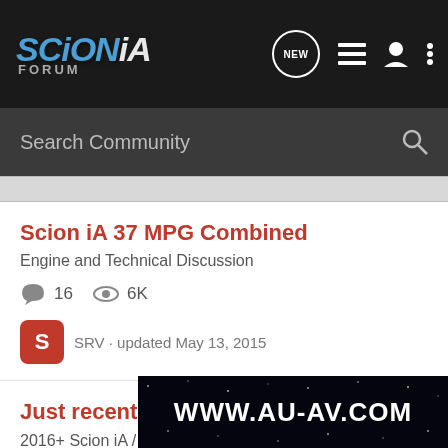SCION iA FORUM
Search Community
Scion iA 37 MPG Combined
Engine and Technical Discussion
16 comments · 6K views
SRV · updated May 13, 2015
Just recently bought a 2016 Scion iA!
2016+ Scion iA / Toyota Yaris iA General...
8 comments · 11K views
Andrew · updated Oct 2, 2015
[Figure (screenshot): Ad banner showing WWW.AU-AV.COM on dark starfield background]